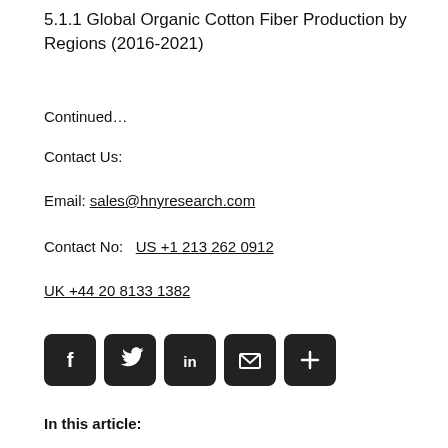5.1.1 Global Organic Cotton Fiber Production by Regions (2016-2021)
Continued…
Contact Us:
Email: sales@hnyresearch.com
Contact No:   US +1 213 262 0912
UK +44 20 8133 1382
[Figure (other): Row of five dark rounded-square social media icons: Facebook (f), Twitter (bird), LinkedIn (in), Email (envelope), and Share (+)]
In this article: